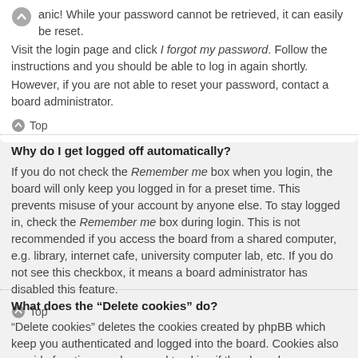anic! While your password cannot be retrieved, it can easily be reset. Visit the login page and click I forgot my password. Follow the instructions and you should be able to log in again shortly. However, if you are not able to reset your password, contact a board administrator.
Top
Why do I get logged off automatically?
If you do not check the Remember me box when you login, the board will only keep you logged in for a preset time. This prevents misuse of your account by anyone else. To stay logged in, check the Remember me box during login. This is not recommended if you access the board from a shared computer, e.g. library, internet cafe, university computer lab, etc. If you do not see this checkbox, it means a board administrator has disabled this feature.
Top
What does the “Delete cookies” do?
“Delete cookies” deletes the cookies created by phpBB which keep you authenticated and logged into the board. Cookies also provide functions such as read tracking if they have been enabled by a board administrator. If you are having login or logout problems, deleting board cookies may help.